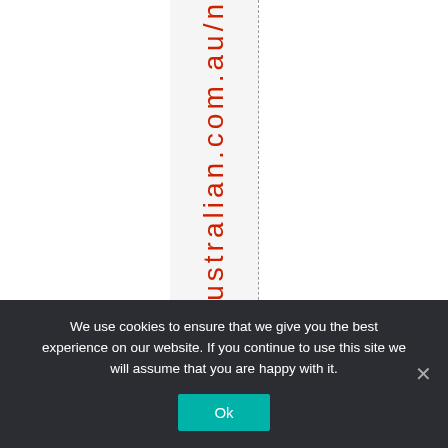ustralian.com.au/n
We use cookies to ensure that we give you the best experience on our website. If you continue to use this site we will assume that you are happy with it.
Ok